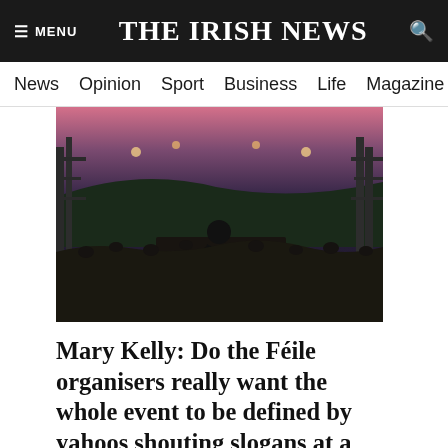☰ MENU   THE IRISH NEWS   🔍
News  Opinion  Sport  Business  Life  Magazine  Arts
[Figure (photo): Concert photo showing a performer on stage viewed from behind, facing a large crowd at an outdoor festival venue with scaffolding and a colourful sunset sky in the background.]
Mary Kelly: Do the Féile organisers really want the whole event to be defined by yahoos shouting slogans at a Wolfe Tones concert?
Jake O'Kane: I thought the airport queues were hellish - until I met Mickey Mouse
This site uses cookies to ensure that we deliver you the best user experience. By continuing to browse the site you are agreeing to our use of cookies. For more information please see our COOKIE POLICY.